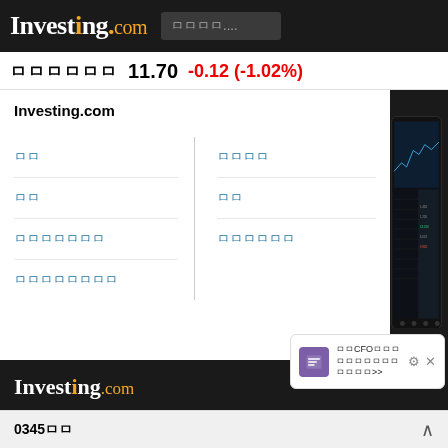Investing.com  ㅁㅁㅁㅁ....
ㅁㅁㅁㅁㅁㅁ  11.70  -0.12 (-1.02%)
Investing.com
ㅁㅁ
ㅁㅁㅁㅁ
ㅁㅁ
ㅁㅁ
ㅁㅁㅁㅁㅁㅁㅁ
ㅁㅁㅁㅁㅁㅁ
ㅁㅁㅁㅁㅁㅁㅁㅁ
[Figure (screenshot): Mobile phone screenshot showing Investing.com app with financial chart and data table]
Investing.com
© 2007-2022 Fusion Media Limitedㅁㅁㅁㅁㅁㅁ
ㅁㅁㅁㅁ: ㅁㅁㅁㅁ/ㅁㅁㅁㅁㅁㅁㅁㅁㅁㅁㅁㅁㅁㅁㅁㅁㅁㅁㅁㅁㅁㅁㅁㅁㅁㅁㅁㅁㅁㅁㅁㅁㅁㅁㅁㅁㅁㅁㅁㅁㅁㅁㅁㅁㅁㅁㅁㅁㅁㅁㅁㅁㅁㅁㅁㅁㅁㅁ
Fusion Media ㅁㅁㅁㅁ Fusion Media ㅁ/ㅁ Fusion Media ㅁㅁㅁㅁ
ㅁㅁCFOㅁㅁㅁㅁㅁㅁㅁㅁㅁㅁㅁㅁㅁㅁ>>
0345ㅁㅁ